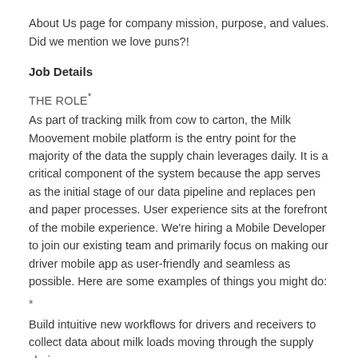About Us page for company mission, purpose, and values.
Did we mention we love puns?!
Job Details
THE ROLE*
As part of tracking milk from cow to carton, the Milk Moovement mobile platform is the entry point for the majority of the data the supply chain leverages daily. It is a critical component of the system because the app serves as the initial stage of our data pipeline and replaces pen and paper processes. User experience sits at the forefront of the mobile experience. We're hiring a Mobile Developer to join our existing team and primarily focus on making our driver mobile app as user-friendly and seamless as possible. Here are some examples of things you might do:
*
Build intuitive new workflows for drivers and receivers to collect data about milk loads moving through the supply chain